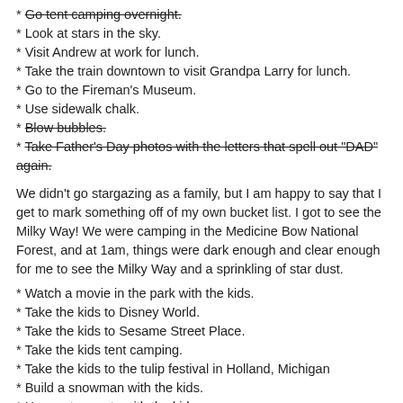Go tent camping overnight. (strikethrough)
Look at stars in the sky.
Visit Andrew at work for lunch.
Take the train downtown to visit Grandpa Larry for lunch.
Go to the Fireman's Museum.
Use sidewalk chalk.
Blow bubbles. (strikethrough)
Take Father's Day photos with the letters that spell out "DAD" again. (strikethrough)
We didn't go stargazing as a family, but I am happy to say that I get to mark something off of my own bucket list. I got to see the Milky Way! We were camping in the Medicine Bow National Forest, and at 1am, things were dark enough and clear enough for me to see the Milky Way and a sprinkling of star dust.
Watch a movie in the park with the kids.
Take the kids to Disney World.
Take the kids to Sesame Street Place.
Take the kids tent camping.
Take the kids to the tulip festival in Holland, Michigan
Build a snowman with the kids.
Have a tea party with the kids.
Have a real picnic with the kids (blanket + picnic basket).